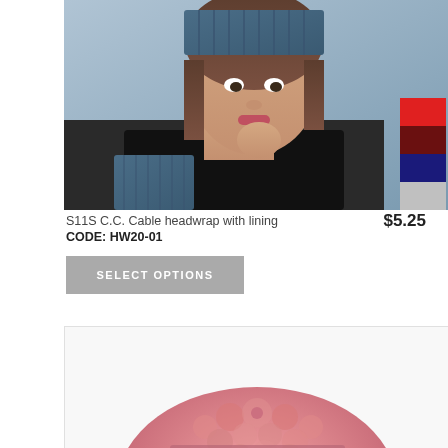[Figure (photo): Woman wearing a blue cable knit headwrap/headband with matching fingerless gloves, wearing a black turtleneck. Color swatches on the right side showing red, dark red/maroon, navy blue, light gray, and black options.]
S11S C.C. Cable headwrap with lining
$5.25
CODE: HW20-01
SELECT OPTIONS
[Figure (photo): Pink/rose colored sherpa/fleece bucket hat shown from above, partially visible at the bottom of the page.]